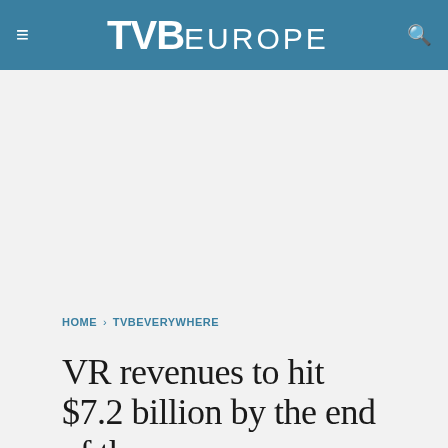TVB EUROPE
[Figure (other): Advertisement placeholder area]
HOME › TVBEVERYWHERE
VR revenues to hit $7.2 billion by the end of the year